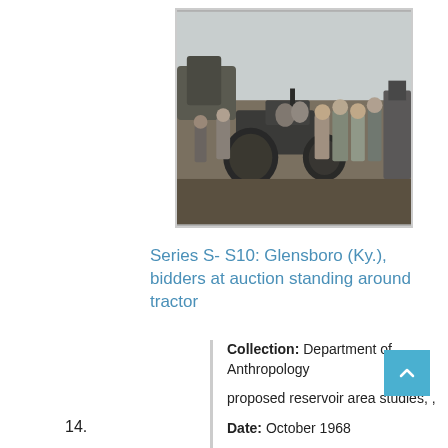[Figure (photo): Black and white photograph of a group of people standing around a tractor outdoors at an auction in Glensboro, Kentucky, October 1968.]
Series S- S10: Glensboro (Ky.), bidders at auction standing around tractor
Collection: Department of Anthropology proposed reservoir area studies, ,
Date: October 1968
14.